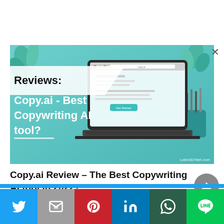[Figure (screenshot): Hero image showing a teal/turquoise themed banner with a laptop displaying the Copy.ai website interface, plants in background, text overlay reading 'Reviews: Copy.ai - Best Copywriting AI tool?' with latestdrnet.com watermark]
Copy.ai Review – The Best Copywriting AI tool in 2022?
[Figure (other): Social sharing bar with Twitter, Email (M), Pinterest, LinkedIn, WhatsApp, and LINE buttons]